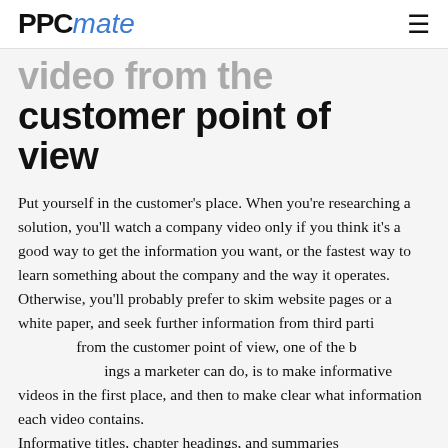PPCmate
video from the customer point of view
Put yourself in the customer's place. When you're researching a solution, you'll watch a company video only if you think it's a good way to get the information you want, or the fastest way to learn something about the company and the way it operates. Otherwise, you'll probably prefer to skim website pages or a white paper, and seek further information from third parties. from the customer point of view, one of the best things a marketer can do, is to make informative videos in the first place, and then to make clear what information each video contains.
Informative titles, chapter headings, and summaries